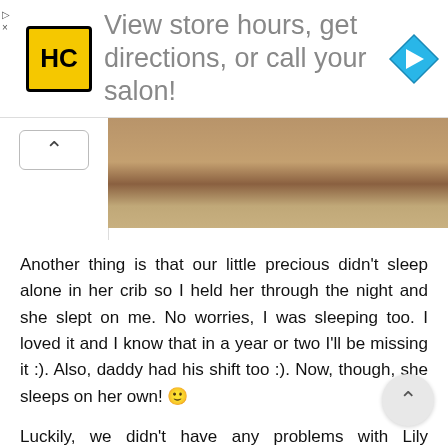[Figure (screenshot): Web page advertisement banner with HC logo (yellow square with black HC letters), text 'View store hours, get directions, or call your salon!' in gray, and a blue diamond navigation arrow icon on the right. A small ad skip button on top left.]
[Figure (photo): Partial blurred photo of what appears to be a wooden surface or furniture, brown tones.]
Another thing is that our little precious didn't sleep alone in her crib so I held her through the night and she slept on me. No worries, I was sleeping too. I loved it and I know that in a year or two I'll be missing it :). Also, daddy had his shift too :). Now, though, she sleeps on her own! 🙂
Luckily, we didn't have any problems with Lily sleeping overnight. Only the first night at the hospital was ha like I mentioned here. Other than that, she will alwa sleep peacefully through the night, waking up only for a